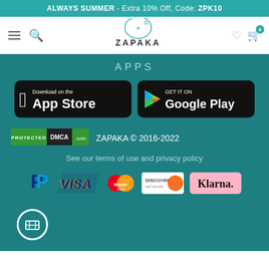ALWAYS SUMMER - Extra 10% Off, Code: ZPK10
[Figure (logo): Zapaka brand logo with decorative figure and ZAPAKA text]
APPS
[Figure (screenshot): Download on the App Store button (black rounded rectangle with Apple logo)]
[Figure (screenshot): GET IT ON Google Play button (black rounded rectangle with Google Play triangle logo)]
[Figure (logo): PROTECTED DMCA.com badge]
ZAPAKA © 2016-2022
See our terms of use and privacy policy
[Figure (logo): Payment method logos: PayPal, VISA, MasterCard, Discover Network, Klarna]